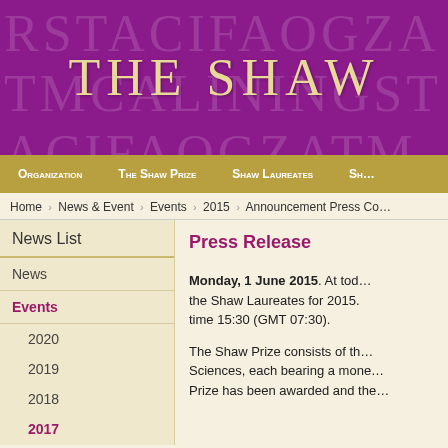THE SHAW
Organization | The Shaw Prize | Shaw Laureates | Sh…
Home › News & Event › Events › 2015 › Announcement Press Co…
News List
News
Events
2020
2019
2018
2017
Announcement Press Conference
Press Release
Monday, 1 June 2015.  At today's press conference, the Shaw Laureates for 2015. … time 15:30 (GMT 07:30).
The Shaw Prize consists of th… Sciences, each bearing a mone… Prize has been awarded and the…